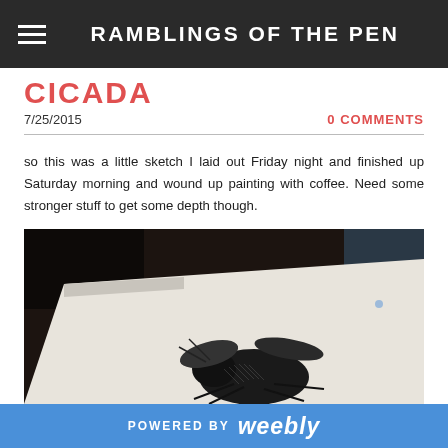RAMBLINGS OF THE PEN
CICADA
7/25/2015
0 COMMENTS
so this was a little sketch I laid out Friday night and finished up Saturday morning and wound up painting with coffee. Need some stronger stuff to get some depth though.
[Figure (photo): A photograph of a detailed pen-and-ink drawing of a cicada on white paper, placed on a dark wooden surface. The drawing shows intricate cross-hatching and linework depicting the insect.]
POWERED BY weebly